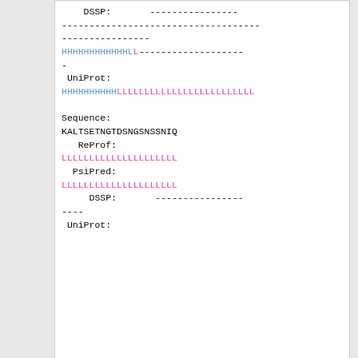DSSP:        ----------------
------------------------------------
----------------
HHHHHHHHHHHHHL-------------------
-
 UniProt:
HHHHHHHHHHLLLLLLLLLLLLLLLLLLLLLLL

Sequence:
KALTSETNGTDSNGSNSSNIQ
   ReProf:
LLLLLLLLLLLLLLLLLLLLL
  PsiPred:
LLLLLLLLLLLLLLLLLLLLL
     DSSP:       ----------------
----
 UniProt:
<figure id="uniprot_sec_str_Q08209" >
[Figure (infographic): A horizontal feature/domain visualization bar showing colored segments (green, blue, pink) representing protein features along a sequence up to position 521. A small expand icon is in the bottom right.]
</figure>